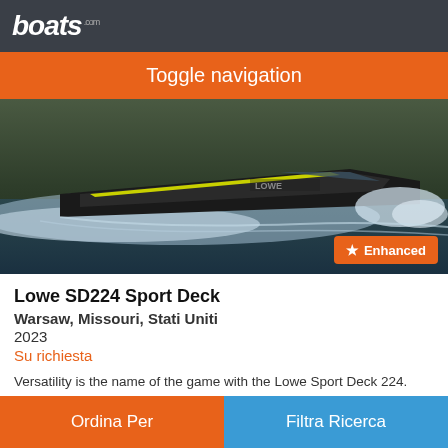boats .com
Toggle navigation
[Figure (photo): A Lowe SD224 Sport Deck boat speeding across water with white spray, viewed from the side. The boat is dark-colored with a yellow accent stripe.]
Lowe SD224 Sport Deck
Warsaw, Missouri, Stati Uniti
2023
Su richiesta
Versatility is the name of the game with the Lowe Sport Deck 224. Anglers will find everything they need for a successful day of fishing, while watersports fans will enjoy thrilling performance and handling. With the comfort and spaciousness of a pontoon and the agility of a sports boat, the SD 224 is perfect for all watersports–get the best of both worlds.
Ordina Per   Filtra Ricerca